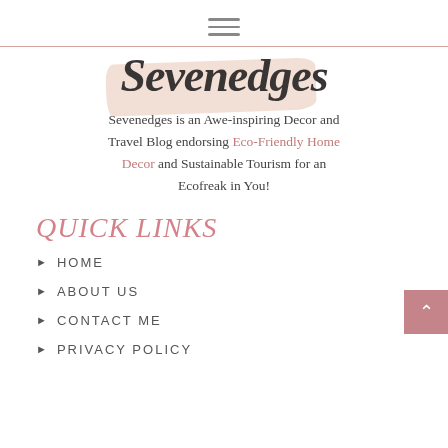[Figure (other): Hamburger menu icon (three horizontal lines)]
[Figure (logo): Sevenedges script logo with pink brush stroke background]
Sevenedges is an Awe-inspiring Decor and Travel Blog endorsing Eco-Friendly Home Decor and Sustainable Tourism for an Ecofreak in You!
QUICK LINKS
HOME
ABOUT US
CONTACT ME
PRIVACY POLICY